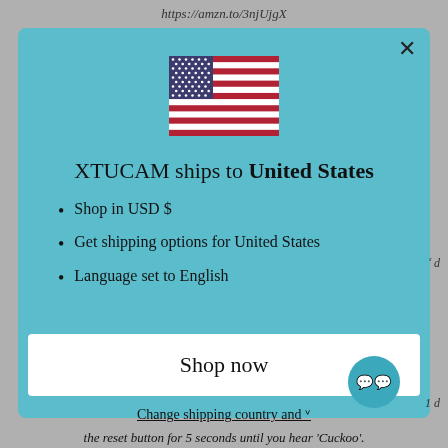https://amzn.to/3njUjgX
[Figure (illustration): US flag SVG illustration]
XTUCAM ships to United States
Shop in USD $
Get shipping options for United States
Language set to English
Shop now
Change shipping country and ᵛ
the reset button for 5 seconds until you hear 'Cuckoo'.